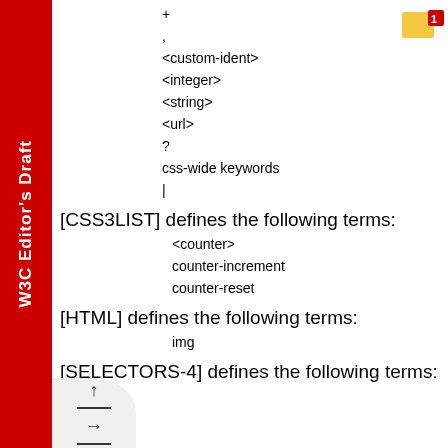W3C Editor's Draft
+
,
<custom-ident>
<integer>
<string>
<url>
?
css-wide keywords
|
[CSS3LIST] defines the following terms:
<counter>
counter-increment
counter-reset
[HTML] defines the following terms:
img
[SELECTORS-4] defines the following terms: